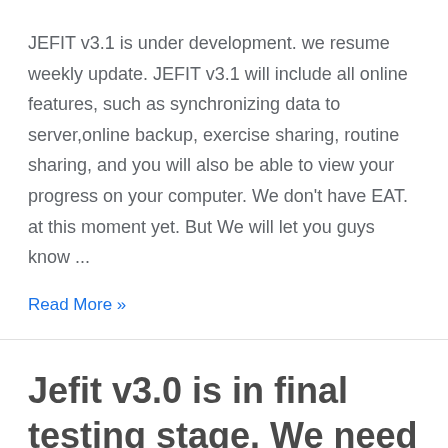JEFIT v3.1 is under development. we resume weekly update. JEFIT v3.1 will include all online features, such as synchronizing data to server,online backup, exercise sharing, routine sharing, and you will also be able to view your progress on your computer. We don't have EAT. at this moment yet. But We will let you guys know ...
Read More »
Jefit v3.0 is in final testing stage. We need more testing